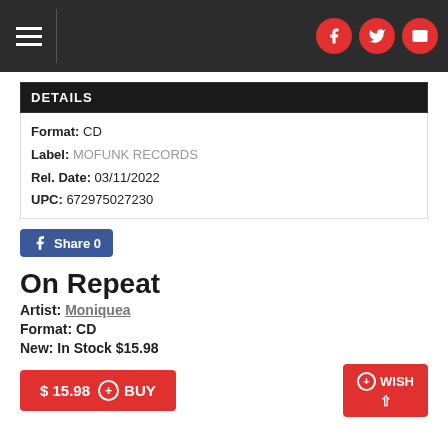Navigation bar with hamburger menu and social icons (Facebook, Twitter, Email)
DETAILS
Format: CD
Label: MOFUNK RECORDS
Rel. Date: 03/11/2022
UPC: 672975027230
Share 0
On Repeat
Artist: Moniquea
Format: CD
New: In Stock $15.98
$ 15.98 + BUY
WISH